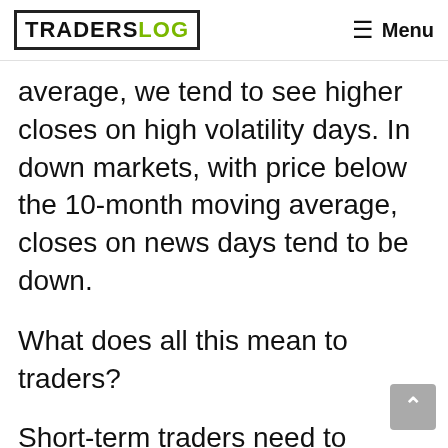TRADERSLOG | Menu
average, we tend to see higher closes on high volatility days. In down markets, with price below the 10-month moving average, closes on news days tend to be down.
What does all this mean to traders?
Short-term traders need to realize and accept that markets react to news. If they are looking to capture